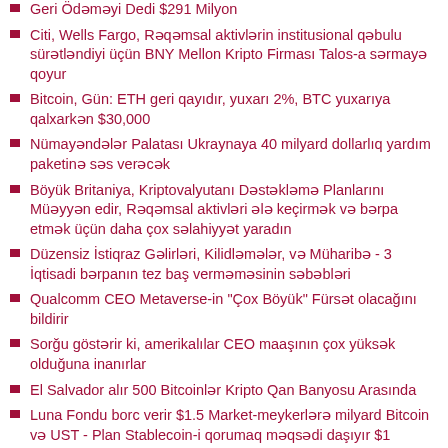Geri Ödəməyi Dedi $291 Milyon
Citi, Wells Fargo, Rəqəmsal aktivlərin institusional qəbulu sürətləndiyi üçün BNY Mellon Kripto Firması Talos-a sərmayə qoyur
Bitcoin, Gün: ETH geri qayıdır, yuxarı 2%, BTC yuxarıya qalxarkən $30,000
Nümayəndələr Palatası Ukraynaya 40 milyard dollarlıq yardım paketinə səs verəcək
Böyük Britaniya, Kriptovalyutanı Dəstəkləmə Planlarını Müəyyən edir, Rəqəmsal aktivləri ələ keçirmək və bərpa etmək üçün daha çox səlahiyyət yaradın
Düzensiz İstiqraz Gəlirləri, Kilidləmələr, və Müharibə - 3 İqtisadi bərpanın tez baş verməməsinin səbəbləri
Qualcomm CEO Metaverse-in "Çox Böyük" Fürsət olacağını bildirir
Sorğu göstərir ki, amerikalılar CEO maaşının çox yüksək olduğuna inanırlar
El Salvador alır 500 Bitcoinlər Kripto Qan Banyosu Arasında
Luna Fondu borc verir $1.5 Market-meykerlərə milyard Bitcoin və UST - Plan Stablecoin-i qorumaq məqsədi daşıyır $1 Paritet